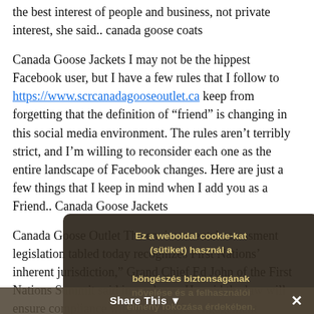the best interest of people and business, not private interest, she said.. canada goose coats
Canada Goose Jackets I may not be the hippest Facebook user, but I have a few rules that I follow to https://www.scrcanadagooseoutlet.ca keep from forgetting that the definition of “friend” is changing in this social media environment. The rules aren’t terribly strict, and I’m willing to reconsider each one as the entire landscape of Facebook changes. Here are just a few things that I keep in mind when I add you as a Friend.. Canada Goose Jackets
Canada Goose Outlet The environmental assessment legislation tabled today recognizes First Nations’ inherent jurisdiction,” Grand Chief Ed John of the First Nations Summit said in a release. He said the law will ensure compliance with meaningful engagement standards that have been upheld in the courts. Indian